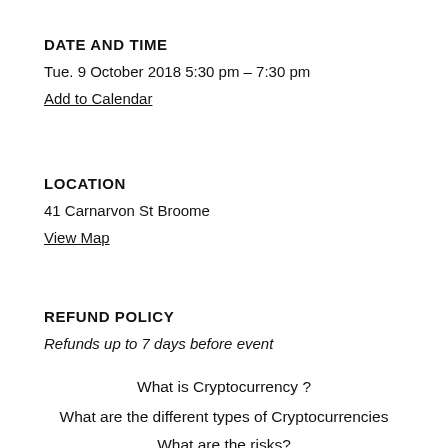DATE AND TIME
Tue. 9 October 2018 5:30 pm – 7:30 pm
Add to Calendar
LOCATION
41 Carnarvon St Broome
View Map
REFUND POLICY
Refunds up to 7 days before event
What is Cryptocurrency ?
What are the different types of Cryptocurrencies
What are the risks?